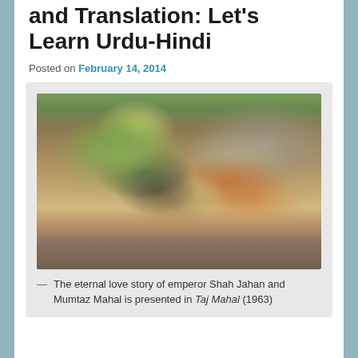and Translation: Let's Learn Urdu-Hindi
Posted on February 14, 2014
[Figure (photo): A still from the 1963 Bollywood film Taj Mahal showing two actors in Mughal-era costumes facing each other. The man on the left wears a dark turban with green and white feather decoration and traditional jewelry. The woman on the right wears bridal attire with a veil and ornate jewelry.]
— The eternal love story of emperor Shah Jahan and Mumtaz Mahal is presented in Taj Mahal (1963)